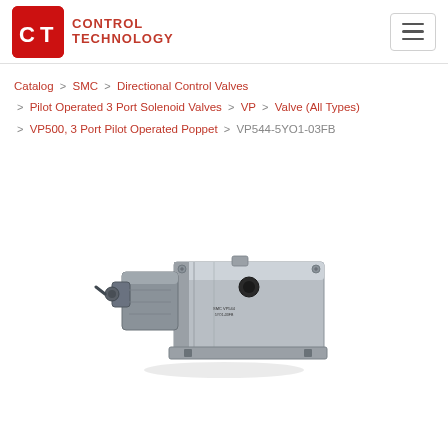CT Control Technology — navigation header with hamburger menu
Catalog > SMC > Directional Control Valves > Pilot Operated 3 Port Solenoid Valves > VP > Valve (All Types) > VP500, 3 Port Pilot Operated Poppet > VP544-5YO1-03FB
[Figure (photo): Product photo of SMC VP544-5YO1-03FB pilot operated 3-port solenoid valve — a compact aluminum body valve with solenoid actuator and conduit connector, metallic grey finish]